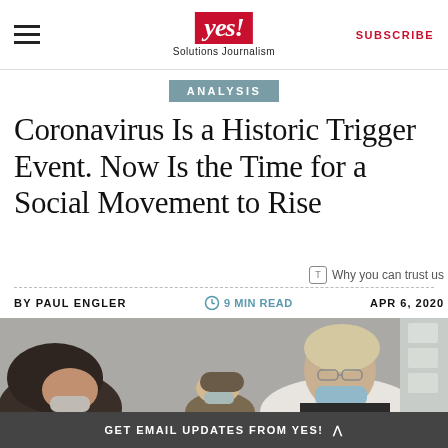YES! Solutions Journalism — SUBSCRIBE
ANALYSIS
Coronavirus Is a Historic Trigger Event. Now Is the Time for a Social Movement to Rise
Why you can trust us
BY PAUL ENGLER   9 MIN READ   APR 6, 2020
[Figure (photo): People wearing face masks, including a person with curly hair in foreground and others in background]
GET EMAIL UPDATES FROM YES! ^